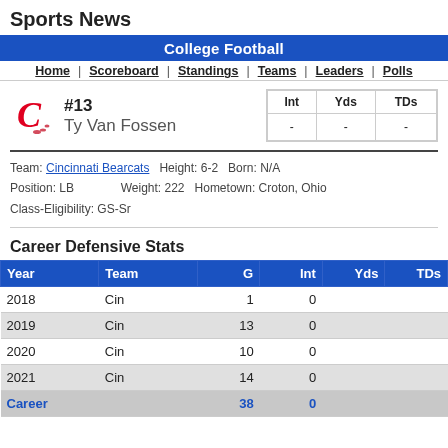Sports News
College Football
Home | Scoreboard | Standings | Teams | Leaders | Polls
#13 Ty Van Fossen
| Int | Yds | TDs |
| --- | --- | --- |
| - | - | - |
Team: Cincinnati Bearcats   Height: 6-2   Born: N/A
Position: LB   Weight: 222   Hometown: Croton, Ohio
Class-Eligibility: GS-Sr
Career Defensive Stats
| Year | Team | G | Int | Yds | TDs |
| --- | --- | --- | --- | --- | --- |
| 2018 | Cin | 1 | 0 |  |  |
| 2019 | Cin | 13 | 0 |  |  |
| 2020 | Cin | 10 | 0 |  |  |
| 2021 | Cin | 14 | 0 |  |  |
| Career |  | 38 | 0 |  |  |